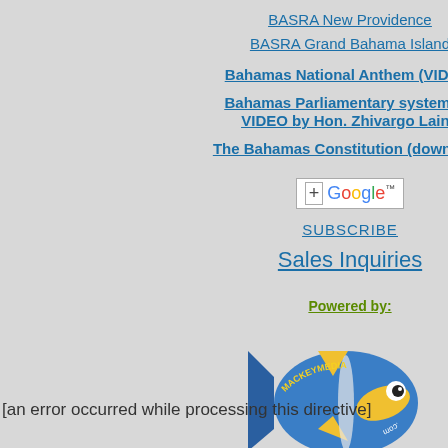BASRA New Providence
BASRA Grand Bahama Island
Bahamas National Anthem (VIDEO)
Bahamas Parliamentary system101 VIDEO by Hon. Zhivargo Laing
The Bahamas Constitution (download)
SUBSCRIBE
Sales Inquiries
Powered by:
[Figure (logo): MackeyMedia fish logo — blue tang fish with yellow fins and MackeyMedia text around it]
[an error occurred while processing this directive]
Bag (BYOB) grocery out and Freepo Environmen officials atte event to su retailer's pr
This week, from the Ba Trust, Wind School's Ec Solomon's Club will giv friendly com